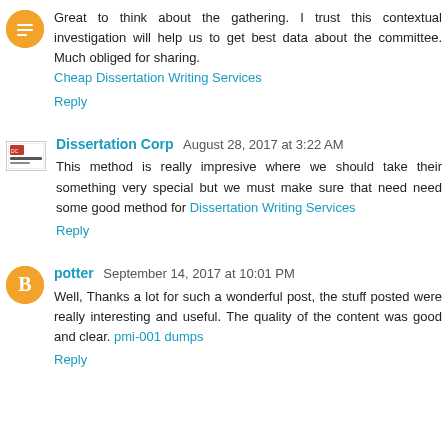Great to think about the gathering. I trust this contextual investigation will help us to get best data about the committee. Much obliged for sharing. Cheap Dissertation Writing Services
Reply
Dissertation Corp August 28, 2017 at 3:22 AM
This method is really impresive where we should take their something very special but we must make sure that need need some good method for Dissertation Writing Services
Reply
potter September 14, 2017 at 10:01 PM
Well, Thanks a lot for such a wonderful post, the stuff posted were really interesting and useful. The quality of the content was good and clear. pmi-001 dumps
Reply